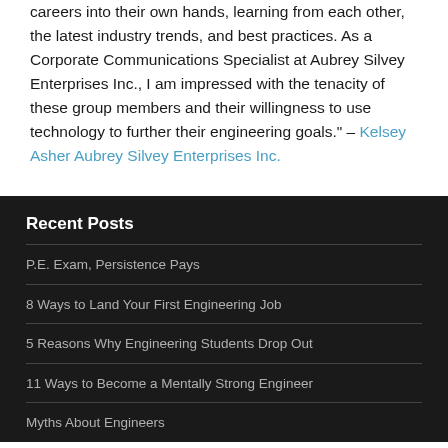careers into their own hands, learning from each other, the latest industry trends, and best practices. As a Corporate Communications Specialist at Aubrey Silvey Enterprises Inc., I am impressed with the tenacity of these group members and their willingness to use technology to further their engineering goals." – Kelsey Asher Aubrey Silvey Enterprises Inc.
Recent Posts
P.E. Exam, Persistence Pays
8 Ways to Land Your First Engineering Job
5 Reasons Why Engineering Students Drop Out
11 Ways to Become a Mentally Strong Engineer
Myths About Engineers